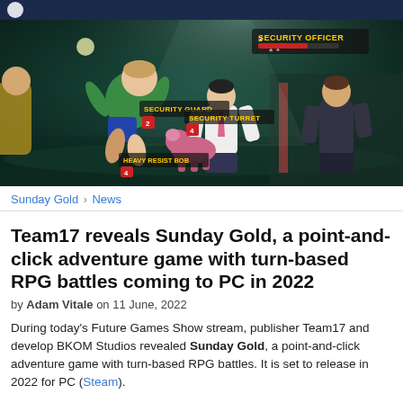[Figure (screenshot): Screenshot from Sunday Gold video game showing animated characters in combat, with enemy health bars and labels including 'Security Officer', 'Security Guard', 'Security Turret', 'Heavy Resist Bob'. Dark teal/green stylized environment.]
Sunday Gold › News
Team17 reveals Sunday Gold, a point-and-click adventure game with turn-based RPG battles coming to PC in 2022
by Adam Vitale on 11 June, 2022
During today's Future Games Show stream, publisher Team17 and develop BKOM Studios revealed Sunday Gold, a point-and-click adventure game with turn-based RPG battles. It is set to release in 2022 for PC (Steam).
Sunday Gold takes place in a near-future London, where a 'ragtag' band of three criminals seek to put an end to the schemes of a corrupt billionaire. The game features various